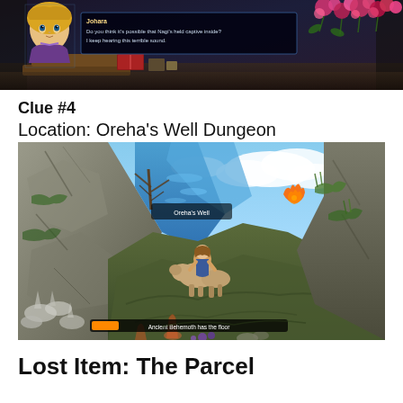[Figure (screenshot): Video game screenshot showing a dialogue scene with a character portrait on the left, a dark fantasy interior background with pink flowers and decorative elements, and a dialogue box with text from a character named Johara]
Clue #4
Location: Oreha's Well Dungeon
[Figure (screenshot): Video game screenshot of Oreha's Well Dungeon showing a 3D environment with rocky terrain, water, coral-like structures, a character mounted on a creature in the center, and a UI progress bar at the bottom]
Lost Item: The Parcel